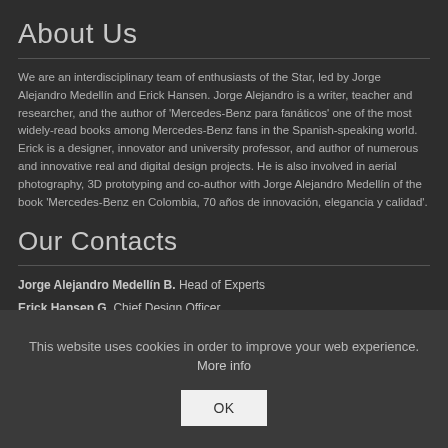About Us
We are an interdisciplinary team of enthusiasts of the Star, led by Jorge Alejandro Medellín and Erick Hansen. Jorge Alejandro is a writer, teacher and researcher, and the author of 'Mercedes-Benz para fanáticos' one of the most widely-read books among Mercedes-Benz fans in the Spanish-speaking world. Erick is a designer, innovator and university professor, and author of numerous and innovative real and digital design projects. He is also involved in aerial photography, 3D prototyping and co-author with Jorge Alejandro Medellín of the book 'Mercedes-Benz en Colombia, 70 años de innovación, elegancia y calidad'.
Our Contacts
Jorge Alejandro Medellín B. Head of Experts
Erick Hansen G. Chief Design Officer
This website uses cookies in order to improve your web experience. More info
OK